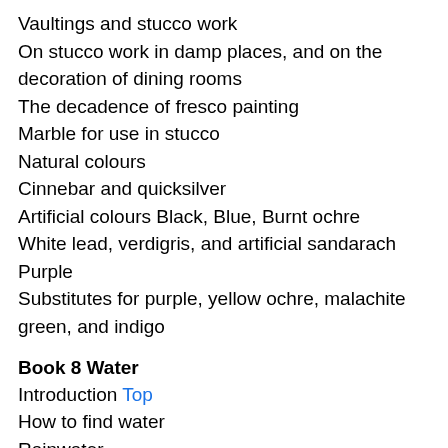Vaultings and stucco work
On stucco work in damp places, and on the decoration of dining rooms
The decadence of fresco painting
Marble for use in stucco
Natural colours
Cinnebar and quicksilver
Artificial colours Black, Blue, Burnt ochre
White lead, verdigris, and artificial sandarach
Purple
Substitutes for purple, yellow ochre, malachite green, and indigo
Book 8 Water
Introduction Top
How to find water
Rainwater
Various properties of different waters
Tests of good water